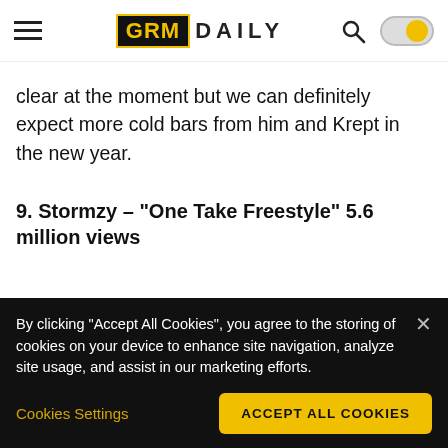GRM DAILY
clear at the moment but we can definitely expect more cold bars from him and Krept in the new year.
9. Stormzy – “One Take Freestyle” 5.6 million views
[Figure (screenshot): YouTube thumbnail for STORMZY - ONE TAKE FREESTY... video, dark background with profile icon]
By clicking "Accept All Cookies", you agree to the storing of cookies on your device to enhance site navigation, analyze site usage, and assist in our marketing efforts.